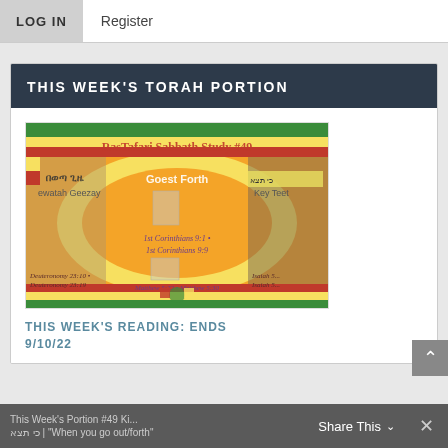LOG IN   Register
THIS WEEK'S TORAH PORTION
[Figure (illustration): RasTafari Sabbath Study #49 promotional image with orange background, Ethiopian flag colors border, religious icons, Ge'ez script reading 'በወጣ ጊዜ / Ewatah Geezay', text 'Goest Forth', key references including 1st Corinthians 9:1, 1st Corinthians 9:9, Matthew 5:22, Matthew 5:30, Deuteronomy 23:10, Deuteronomy 23:19, Isaiah passages]
THIS WEEK'S READING: ENDS 9/10/22
This Week's Portion #49 Ki Teitzei כי תצא | "When you go out/forth"
Share This